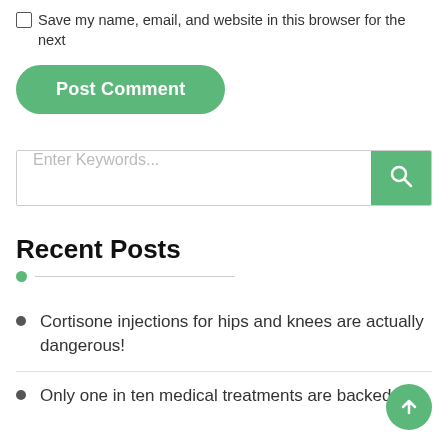Save my name, email, and website in this browser for the next
Post Comment
Enter Keywords...
Recent Posts
Cortisone injections for hips and knees are actually dangerous!
Only one in ten medical treatments are backed